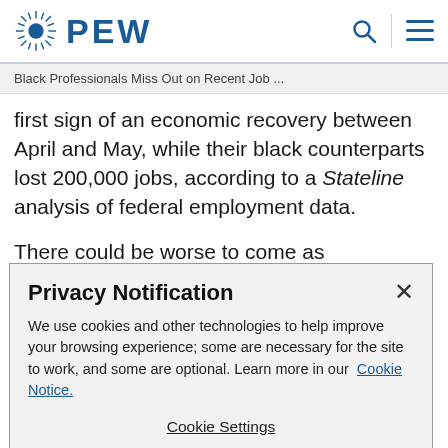PEW
Black Professionals Miss Out on Recent Job ...
first sign of an economic recovery between April and May, while their black counterparts lost 200,000 jobs, according to a Stateline analysis of federal employment data.

There could be worse to come as government jobs, a source of middle-class pay for many black professionals, start to erode as cities and states respond to evaporating
Privacy Notification

We use cookies and other technologies to help improve your browsing experience; some are necessary for the site to work, and some are optional. Learn more in our Cookie Notice.

Cookie Settings